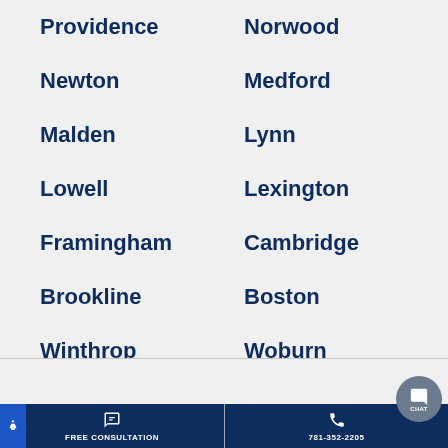Providence
Norwood
Newton
Medford
Malden
Lynn
Lowell
Lexington
Framingham
Cambridge
Brookline
Boston
Winthrop
Woburn
FREE CONSULTATION   781-352-2205